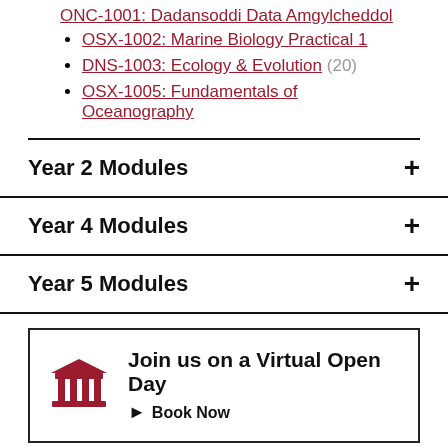ONC-1001: Dadansoddi Data Amgylcheddol
OSX-1002: Marine Biology Practical 1
DNS-1003: Ecology & Evolution (20)
OSX-1005: Fundamentals of Oceanography
Year 2 Modules
Year 4 Modules
Year 5 Modules
Join us on a Virtual Open Day
Book Now